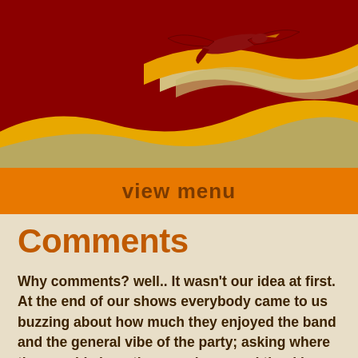[Figure (illustration): Decorative header banner with dark red background, flowing wavy lines in orange, yellow, and olive/tan colors, and a stylized bird silhouette in dark red/brown flying over the waves.]
view menu
Comments
Why comments? well.. It wasn't our idea at first. At the end of our shows everybody came to us buzzing about how much they enjoyed the band and the general vibe of the party; asking where they could share the experience and thanking us for the fantastic set to which they were dancing throughout the night ...so here is what they have to say...